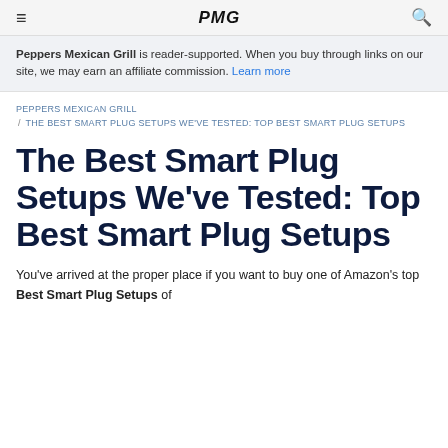≡  PMG  🔍
Peppers Mexican Grill is reader-supported. When you buy through links on our site, we may earn an affiliate commission. Learn more
PEPPERS MEXICAN GRILL / THE BEST SMART PLUG SETUPS WE'VE TESTED: TOP BEST SMART PLUG SETUPS
The Best Smart Plug Setups We've Tested: Top Best Smart Plug Setups
You've arrived at the proper place if you want to buy one of Amazon's top Best Smart Plug Setups of